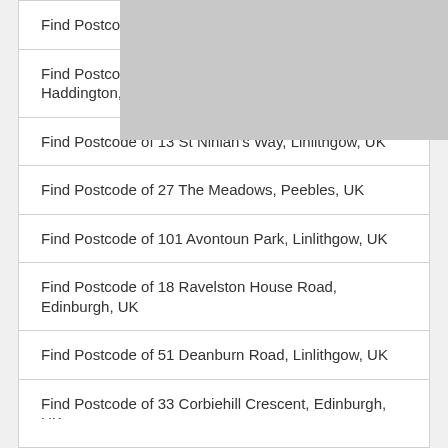Find Postcode of 1 Dobsons Place, Haddington, UK
Find Postcode of Upper Bolton Farm, B6368, Haddington, UK
Find Postcode of 13 St Ninian's Way, Linlithgow, UK
Find Postcode of 27 The Meadows, Peebles, UK
Find Postcode of 101 Avontoun Park, Linlithgow, UK
Find Postcode of 18 Ravelston House Road, Edinburgh, UK
Find Postcode of 51 Deanburn Road, Linlithgow, UK
Find Postcode of 33 Corbiehill Crescent, Edinburgh, UK
View A…